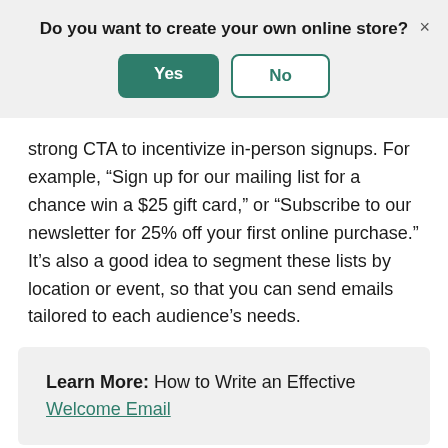Do you want to create your own online store?
strong CTA to incentivize in-person signups. For example, “Sign up for our mailing list for a chance win a $25 gift card,” or “Subscribe to our newsletter for 25% off your first online purchase.” It’s also a good idea to segment these lists by location or event, so that you can send emails tailored to each audience’s needs.
Learn More: How to Write an Effective Welcome Email